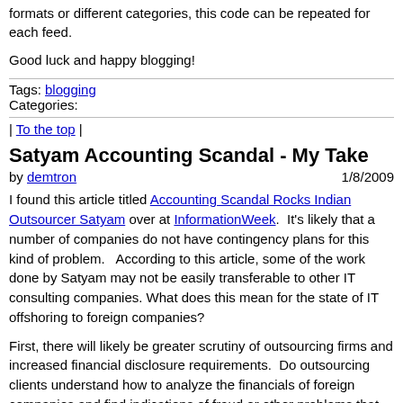formats or different categories, this code can be repeated for each feed.
Good luck and happy blogging!
Tags: blogging
Categories:
| To the top |
Satyam Accounting Scandal - My Take
by demtron   1/8/2009
I found this article titled Accounting Scandal Rocks Indian Outsourcer Satyam over at InformationWeek.  It's likely that a number of companies do not have contingency plans for this kind of problem.   According to this article, some of the work done by Satyam may not be easily transferable to other IT consulting companies. What does this mean for the state of IT offshoring to foreign companies?
First, there will likely be greater scrutiny of outsourcing firms and increased financial disclosure requirements.  Do outsourcing clients understand how to analyze the financials of foreign companies and find indications of fraud or other problems that can happen in that country but not domestically?  Would increased scrutiny have identified this?  I can't answer these